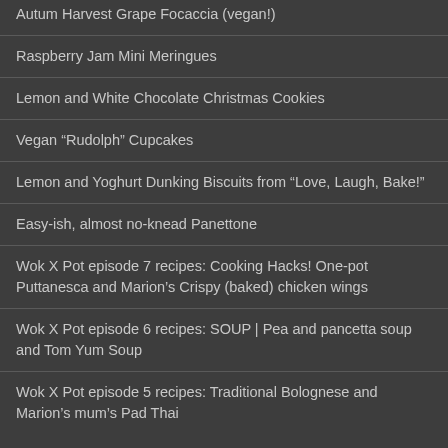Autum Harvest Grape Focaccia (vegan!)
Raspberry Jam Mini Meringues
Lemon and White Chocolate Christmas Cookies
Vegan “Rudolph” Cupcakes
Lemon and Yoghurt Dunking Biscuits from “Love, Laugh, Bake!”
Easy-ish, almost no-knead Panettone
Wok X Pot episode 7 recipes: Cooking Hacks! One-pot Puttanesca and Marion’s Crispy (baked) chicken wings
Wok X Pot episode 6 recipes: SOUP | Pea and pancetta soup and Tom Yum Soup
Wok X Pot episode 5 recipes: Traditional Bolognese and Marion’s mum’s Pad Thai